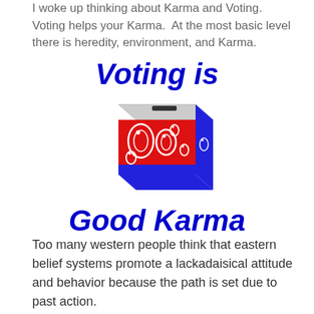I woke up thinking about Karma and Voting.  Voting helps your Karma.  At the most basic level there is heredity, environment, and Karma.
[Figure (illustration): Illustration of a decorated ballot/voting box with text 'Voting is Good Karma' in bold blue italic above and below the box image. The box is red on the front with blue and white paisley decorative patterns, a blue right side, and a gray top with a slot.]
Too many western people think that eastern belief systems promote a lackadaisical attitude and behavior because the path is set due to past action.